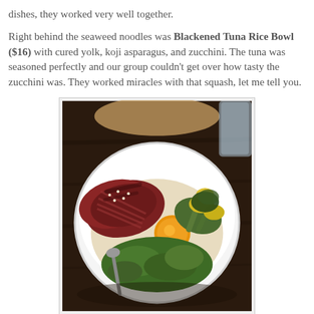dishes, they worked very well together.
Right behind the seaweed noodles was Blackened Tuna Rice Bowl ($16) with cured yolk, koji asparagus, and zucchini. The tuna was seasoned perfectly and our group couldn't get over how tasty the zucchini was. They worked miracles with that squash, let me tell you.
[Figure (photo): A white bowl containing blackened tuna rice bowl with sliced seared tuna, cured egg yolk, asparagus, zucchini, and other vegetables, served with a fork/spoon, photographed from above on a dark wooden table]